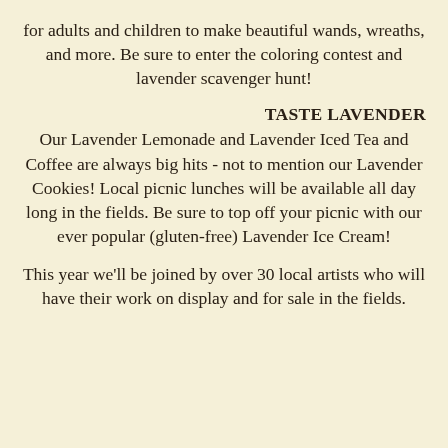for adults and children to make beautiful wands, wreaths, and more. Be sure to enter the coloring contest and lavender scavenger hunt!
TASTE LAVENDER
Our Lavender Lemonade and Lavender Iced Tea and Coffee are always big hits - not to mention our Lavender Cookies! Local picnic lunches will be available all day long in the fields. Be sure to top off your picnic with our ever popular (gluten-free) Lavender Ice Cream!
This year we'll be joined by over 30 local artists who will have their work on display and for sale in the fields.